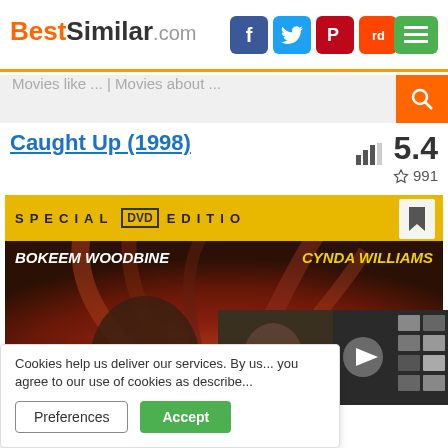BestSimilar.com
Movies like ... | Movies about ...
Caught Up (1998)
5.4  991
[Figure (photo): Movie poster for Caught Up (1998) Special DVD Edition featuring Bokeem Woodbine and Cynda Williams on a swirling brown/red background]
Cookies help us deliver our services. By us... you agree to our use of cookies as describe...
Preferences  Accept